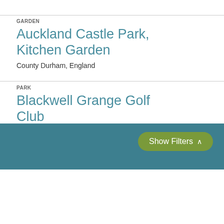GARDEN
Auckland Castle Park, Kitchen Garden
County Durham, England
PARK
Blackwell Grange Golf Club
Show Filters ∧